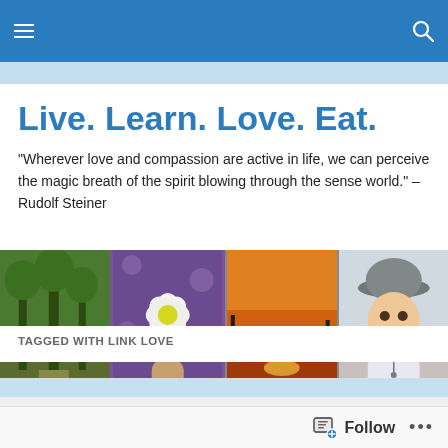Navigation bar with hamburger menu and search icon
Live. Learn. Love. Eat.
“Wherever love and compassion are active in life, we can perceive the magic breath of the spirit blowing through the sense world.” – Rudolf Steiner
[Figure (photo): Four-panel photo collage: (1) two children walking on a forest path, (2) white flower held in hand against purple floral background, (3) golden sunset over a lake, (4) smiling baby in striped outfit wearing a hat.]
TAGGED WITH LINK LOVE
Follow  …